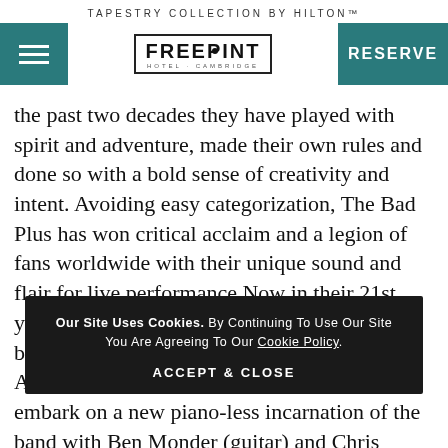TAPESTRY COLLECTION BY HILTON™
[Figure (logo): Freepoint Hotel Cambridge logo with hamburger menu and RESERVE button on teal background]
the past two decades they have played with spirit and adventure, made their own rules and done so with a bold sense of creativity and intent. Avoiding easy categorization, The Bad Plus has won critical acclaim and a legion of fans worldwide with their unique sound and flair for live performance.Now in their 21st year, The Bad Plus continues to push boundaries as founding members Reid Anderson (bass) and Dave King (drums) embark on a new piano-less incarnation of the band with Ben Monder (guitar) and Chris Speed (tenor saxophone) insti  n the b  he Bad  techniques with exceptional airs and other pres exceptional musicians working in perfect sync.~The Bad Plus
Our Site Uses Cookies. By Continuing To Use Our Site You Are Agreeing To Our Cookie Policy.
ACCEPT & CLOSE